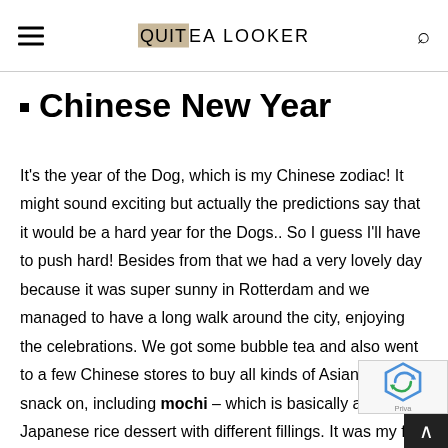QUITE A LOOKER
Chinese New Year
It's the year of the Dog, which is my Chinese zodiac! It might sound exciting but actually the predictions say that it would be a hard year for the Dogs.. So I guess I'll have to push hard! Besides from that we had a very lovely day because it was super sunny in Rotterdam and we managed to have a long walk around the city, enjoying the celebrations. We got some bubble tea and also went to a few Chinese stores to buy all kinds of Asian food to snack on, including mochi – which is basically a Japanese rice dessert with different fillings. It was my first time try out and I must say it's amazingly weird but super de I can't wait to go to China in June and try out all kinds of